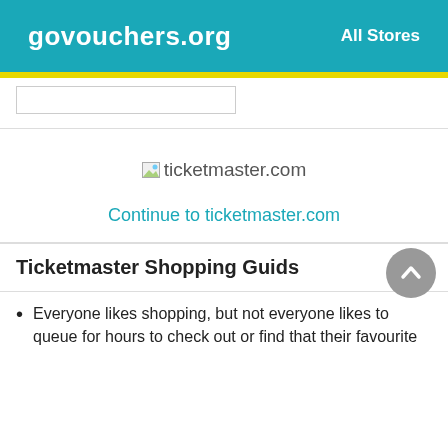govouchers.org   All Stores
[Figure (screenshot): Broken image placeholder followed by text 'ticketmaster.com']
Continue to ticketmaster.com
Ticketmaster Shopping Guids
Everyone likes shopping, but not everyone likes to queue for hours to check out or find that their favourite